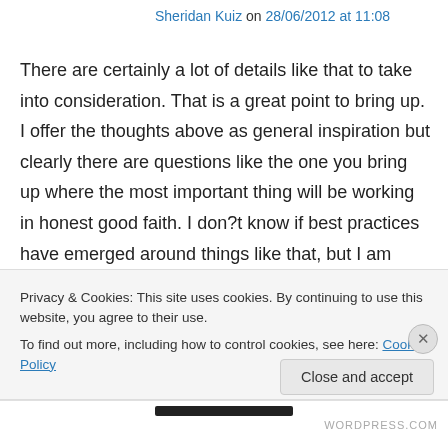Sheridan Kuiz on 28/06/2012 at 11:08
There are certainly a lot of details like that to take into consideration. That is a great point to bring up. I offer the thoughts above as general inspiration but clearly there are questions like the one you bring up where the most important thing will be working in honest good faith. I don?t know if best practices have emerged around things like that, but I am sure that your job is clearly identified as a fair game. Create a search
Privacy & Cookies: This site uses cookies. By continuing to use this website, you agree to their use.
To find out more, including how to control cookies, see here: Cookie Policy